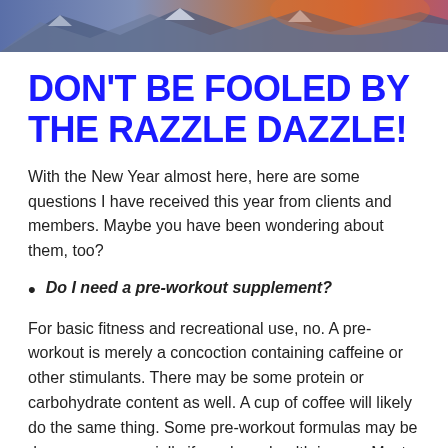[Figure (photo): Mountain landscape with snow-capped peaks and orange/purple sky at top of page]
DON'T BE FOOLED BY THE RAZZLE DAZZLE!
With the New Year almost here, here are some questions I have received this year from clients and members. Maybe you have been wondering about them, too?
Do I need a pre-workout supplement?
For basic fitness and recreational use, no. A pre-workout is merely a concoction containing caffeine or other stimulants. There may be some protein or carbohydrate content as well. A cup of coffee will likely do the same thing. Some pre-workout formulas may be dangerous, especially if you have health issues. Most pre-workouts are loaded with fillers and other ingredients that have no proven benefit such as extreme doses of vitamins. There are not many peers who reviewed science supporting supplements so use caution if